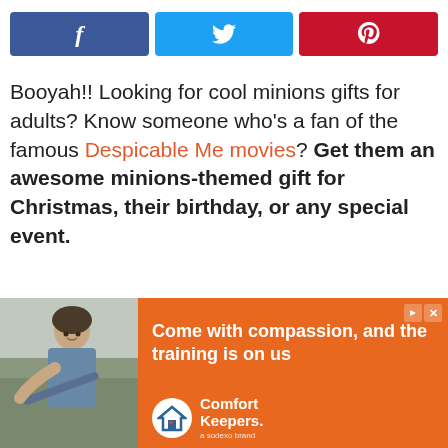[Figure (other): Social sharing buttons: Facebook (blue), Twitter (cyan), Pinterest (red)]
Booyah!! Looking for cool minions gifts for adults? Know someone who’s a fan of the famous Despicable Me movies? Get them an awesome minions-themed gift for Christmas, their birthday, or any special event.
[Figure (other): Advertisement banner: Comfort Keepers ad showing a person and orange background with text 'Come with compassion, and the training is on us']